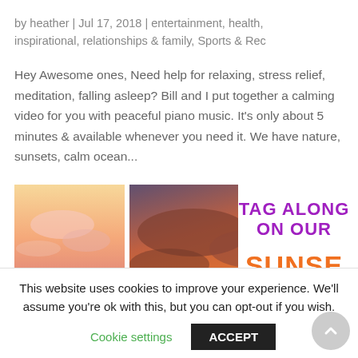by heather | Jul 17, 2018 | entertainment, health, inspirational, relationships & family, Sports & Rec
Hey Awesome ones, Need help for relaxing, stress relief, meditation, falling asleep? Bill and I put together a calming video for you with peaceful piano music. It's only about 5 minutes & available whenever you need it. We have nature, sunsets, calm ocean...
[Figure (photo): Collage image showing two people posing at sunset on the left panel and a dramatic orange-red cloudy sky on the right panel, with text overlay reading 'TAG ALONG ON OUR SUNSE' in purple and orange bold font]
This website uses cookies to improve your experience. We'll assume you're ok with this, but you can opt-out if you wish.
Cookie settings  ACCEPT